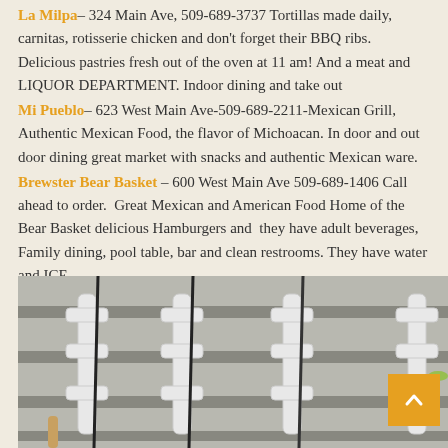La Milpa – 324 Main Ave, 509-689-3737 Tortillas made daily, carnitas, rotisserie chicken and don't forget their BBQ ribs. Delicious pastries fresh out of the oven at 11 am! And a meat and LIQUOR DEPARTMENT. Indoor dining and take out
Mi Pueblo – 623 West Main Ave-509-689-2211-Mexican Grill, Authentic Mexican Food, the flavor of Michoacan. In door and out door dining great market with snacks and authentic Mexican ware.
Brewster Bear Basket – 600 West Main Ave 509-689-1406 Call ahead to order. Great Mexican and American Food Home of the Bear Basket delicious Hamburgers and they have adult beverages, Family dining, pool table, bar and clean restrooms. They have water and ICE
[Figure (photo): Photo of fishing rod holders/accessories displayed on a rack or wall mount, showing white plastic rod holders with fishing rods and lures.]